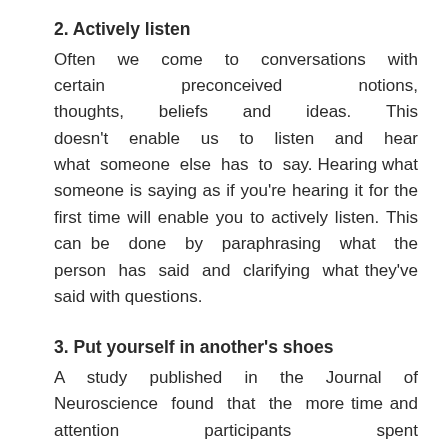2. Actively listen
Often we come to conversations with certain preconceived notions, thoughts, beliefs and ideas. This doesn't enable us to listen and hear what someone else has to say. Hearing what someone is saying as if you're hearing it for the first time will enable you to actively listen. This can be done by paraphrasing what the person has said and clarifying what they've said with questions.
3. Put yourself in another's shoes
A study published in the Journal of Neuroscience found that the more time and attention participants spent thinking empathically, the more